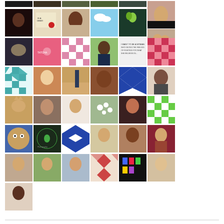[Figure (photo): A grid/mosaic of profile photos, pattern tiles, logos, and portrait images arranged in rows. The grid contains approximately 43 thumbnail images including people's portraits, decorative geometric patterns (checker patterns in pink, teal, blue, green), nature photos, cartoon illustrations, text quotes, and logos. Images are arranged in 6 columns with partial rows at top and bottom.]